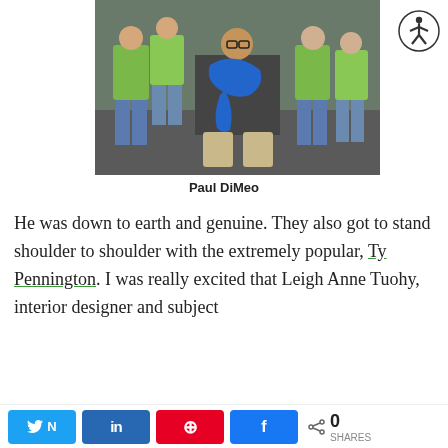[Figure (photo): A man kneeling on one knee surrounded by children in green t-shirts, holding a large blue object together. Group photo on pavement.]
Paul DiMeo
He was down to earth and genuine. They also got to stand shoulder to shoulder with the extremely popular, Ty Pennington. I was really excited that Leigh Anne Tuohy, interior designer and subject
[Figure (other): Accessibility icon — stick figure in circle]